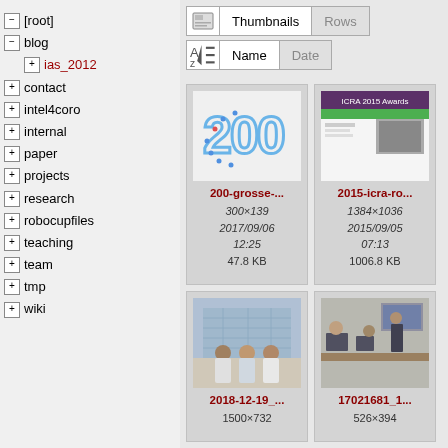− [root]
− blog
+ ias_2012
+ contact
+ intel4coro
+ internal
+ paper
+ projects
+ research
+ robocupfiles
+ teaching
+ team
+ tmp
+ wiki
[Figure (screenshot): Thumbnail viewer toolbar with Thumbnails/Rows toggle and Name/Date sort buttons]
[Figure (photo): Thumbnail image showing '200' made of colored dots]
200-grosse-...
300×139
2017/09/06
12:25
47.8 KB
[Figure (screenshot): Thumbnail showing 2015-icra-ro... screenshot of a webpage]
2015-icra-ro...
1384×1036
2015/09/05
07:13
1006.8 KB
[Figure (photo): Photo of three people standing in front of a building]
2018-12-19_...
1500×732
[Figure (photo): Photo of people in a room with computers and a screen]
17021681_1...
526×394